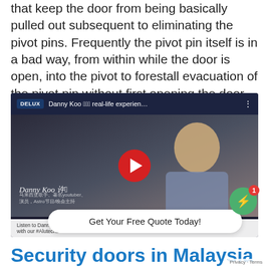that keep the door from being basically pulled out subsequent to eliminating the pivot pins. Frequently the pivot pin itself is in a bad way, from within while the door is open, into the pivot to forestall evacuation of the pivot pin without first opening the door.
[Figure (screenshot): YouTube video embed showing Danny Koo real-life experience video thumbnail with DELUX logo, play button, and caption about AlutechDoor]
Get Your Free Quote Today!
Security doors in Malaysia